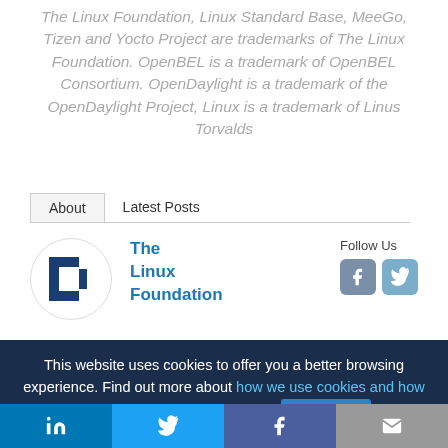The Linux Foundation, Linux Standard Base, MeeGo, Tizen and Yocto Project are trademarks of The Linux Foundation. OpenBEL is a trademark of OpenBEL Consortium. OpenDaylight is a trademark of the OpenDaylight Project, Linux is a trademark of Linus Torvalds
About   Latest Posts
[Figure (logo): The Linux Foundation logo (blue square bracket design) in a circular frame, with organization name 'The Linux Foundation' in blue text beside it, and Follow Us social icons (Facebook, Twitter) to the right.]
This website uses cookies to offer you a better browsing experience. Find out more about how we use cookies and how you can change your settings. Accept
[Figure (infographic): Share bar at the bottom with LinkedIn (blue), Twitter (light blue), Facebook (dark blue/purple), and Email (grey) sharing buttons.]